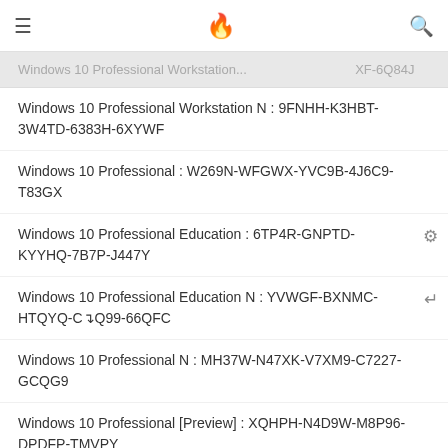≡  🔥  🔍
Windows 10 Professional Workstation...  XF-6Q84J
Windows 10 Professional Workstation N : 9FNHH-K3HBT-3W4TD-6383H-6XYWF
Windows 10 Professional : W269N-WFGWX-YVC9B-4J6C9-T83GX
Windows 10 Professional Education : 6TP4R-GNPTD-KYYHQ-7B7P-J447Y
Windows 10 Professional Education N : YVWGF-BXNMC-HTQYQ-C⌈Q99-66QFC
Windows 10 Professional N : MH37W-N47XK-V7XM9-C7227-GCQG9
Windows 10 Professional [Preview] : XQHPH-N4D9W-M8P96-DPDFP-TMVPY
Windows 10 Professional WMC [Pre-Release] : NKPM6-TCVPT-3HRFX-Q4H9B-QJ34Y
Windows 10 Enterprise for Virtual Desktops : CPWHC-NT2C7-VYW7